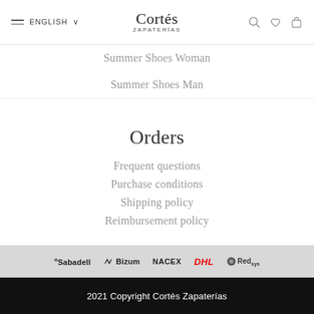≡ ENGLISH ∨  Cortés ZAPATERÍAS  🔍 ♡ 🛍
Summer Shoes Woman
Summer Shoes Man
Orders
Frequent questions
Purchase conditions
Shipping policy
Reimbursement policy
[Figure (logo): Payment and delivery partner logos: Sabadell, Bizum, NACEX, DHL, Redsys]
2021 Copyright Cortés Zapaterías